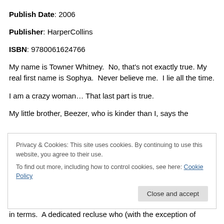Publish Date: 2006
Publisher: HarperCollins
ISBN: 9780061624766
My name is Towner Whitney.  No, that's not exactly true.  My real first name is Sophya.  Never believe me.  I lie all the time.
I am a crazy woman… That last part is true.
My little brother, Beezer, who is kinder than I, says the
Privacy & Cookies: This site uses cookies. By continuing to use this website, you agree to their use.
To find out more, including how to control cookies, see here: Cookie Policy
in terms.  A dedicated recluse who (with the exception of